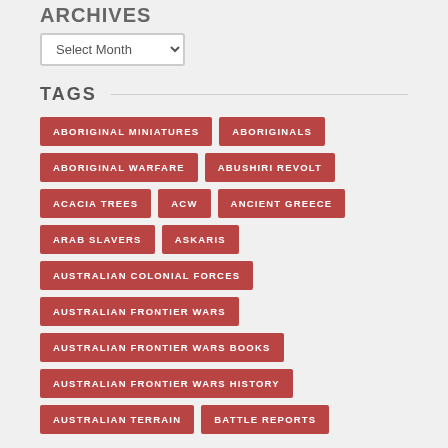ARCHIVES
Select Month (dropdown)
TAGS
ABORIGINAL MINIATURES
ABORIGINALS
ABORIGINAL WARFARE
ABUSHIRI REVOLT
ACACIA TREES
ACW
ANCIENT GREECE
ARAB SLAVERS
ASKARIS
AUSTRALIAN COLONIAL FORCES
AUSTRALIAN FRONTIER WARS
AUSTRALIAN FRONTIER WARS BOOKS
AUSTRALIAN FRONTIER WARS HISTORY
AUSTRALIAN TERRAIN
BATTLE REPORTS